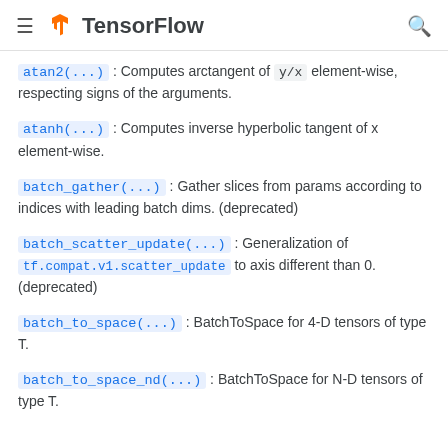≡ TensorFlow 🔍
atan2(...) : Computes arctangent of y/x element-wise, respecting signs of the arguments.
atanh(...) : Computes inverse hyperbolic tangent of x element-wise.
batch_gather(...) : Gather slices from params according to indices with leading batch dims. (deprecated)
batch_scatter_update(...) : Generalization of tf.compat.v1.scatter_update to axis different than 0. (deprecated)
batch_to_space(...) : BatchToSpace for 4-D tensors of type T.
batch_to_space_nd(...) : BatchToSpace for N-D tensors of type T.